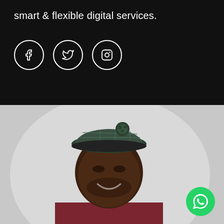smart & flexible digital services.
[Figure (infographic): Three social media icon circles (Facebook, Twitter, Instagram) on dark background]
[Figure (photo): Smiling young Black man wearing a plaid flat cap with pompom and a dark red/maroon knit sweater, photographed against a light gray background. WhatsApp icon button in bottom right corner.]